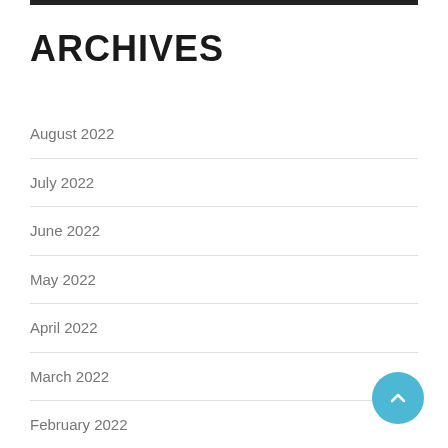ARCHIVES
August 2022
July 2022
June 2022
May 2022
April 2022
March 2022
February 2022